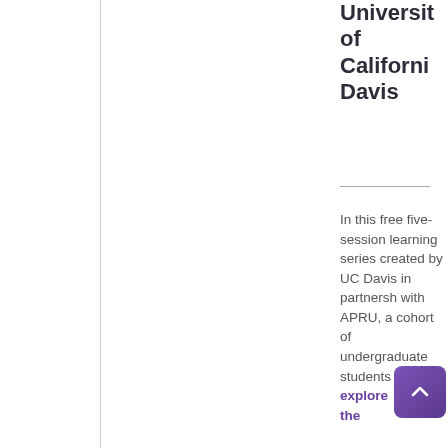University of California Davis
In this free five-session learning series created by UC Davis in partnership with APRU, a cohort of undergraduate students will explore the